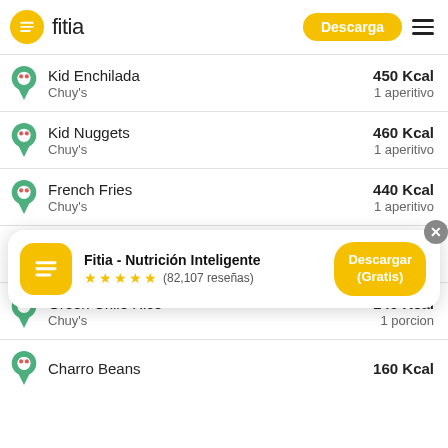fitia | Descarga
Kid Enchilada | Chuy's | 450 Kcal | 1 aperitivo
Kid Nuggets | Chuy's | 460 Kcal | 1 aperitivo
French Fries | Chuy's | 440 Kcal | 1 aperitivo
Macaroni and Cheese | Chuy's | 220 Kcal | 1 aperitivo
Green Chile Rice | Chuy's | 140 Kcal | 1 porcion
[Figure (screenshot): App download banner: Fitia - Nutrición Inteligente, 5 stars, (82,107 reseñas), Descargar (Gratis) button]
Charro Beans | 160 Kcal